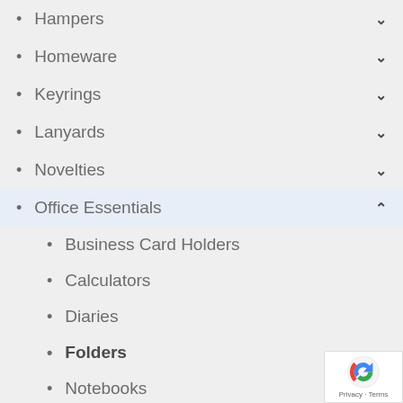Hampers
Homeware
Keyrings
Lanyards
Novelties
Office Essentials
Business Card Holders
Calculators
Diaries
Folders
Notebooks
Office accessories
Organisers